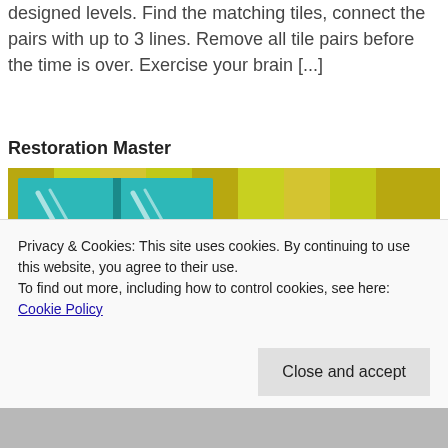designed levels. Find the matching tiles, connect the pairs with up to 3 lines. Remove all tile pairs before the time is over. Exercise your brain [...]
Restoration Master
[Figure (illustration): Cartoon illustration of a kitchen scene with yellow-green striped walls, a teal window, a dirty knife, and a hand holding a blue cleaning spray bottle with red capsule pills scattered around.]
Privacy & Cookies: This site uses cookies. By continuing to use this website, you agree to their use.
To find out more, including how to control cookies, see here: Cookie Policy
Close and accept